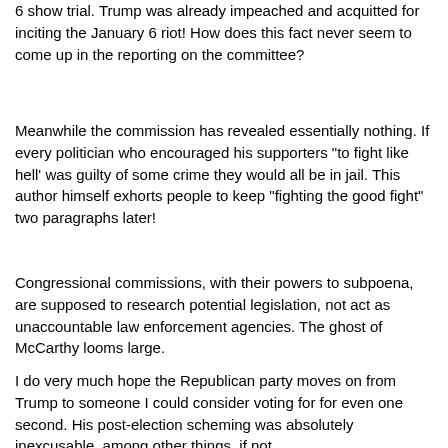6 show trial. Trump was already impeached and acquitted for inciting the January 6 riot! How does this fact never seem to come up in the reporting on the committee?
Meanwhile the commission has revealed essentially nothing. If every politician who encouraged his supporters "to fight like hell' was guilty of some crime they would all be in jail. This author himself exhorts people to keep "fighting the good fight" two paragraphs later!
Congressional commissions, with their powers to subpoena, are supposed to research potential legislation, not act as unaccountable law enforcement agencies. The ghost of McCarthy looms large.
I do very much hope the Republican party moves on from Trump to someone I could consider voting for for even one second. His post-election scheming was absolutely inexcusable, among other things, if not